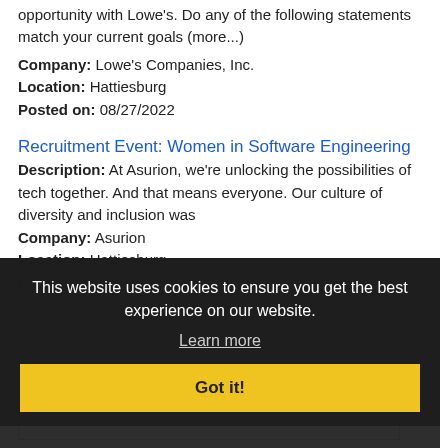opportunity with Lowe's. Do any of the following statements match your current goals (more...)
Company: Lowe's Companies, Inc.
Location: Hattiesburg
Posted on: 08/27/2022
Recruitment Event: Women in Software Engineering
Description: At Asurion, we're unlocking the possibilities of tech together. And that means everyone. Our culture of diversity and inclusion was
Company: Asurion
Location: Hattiesburg
Posted on: 08/27/2022
Loading more jobs...
Log In or Create An Account
Username:
Password:
This website uses cookies to ensure you get the best experience on our website.
Learn more
Got it!